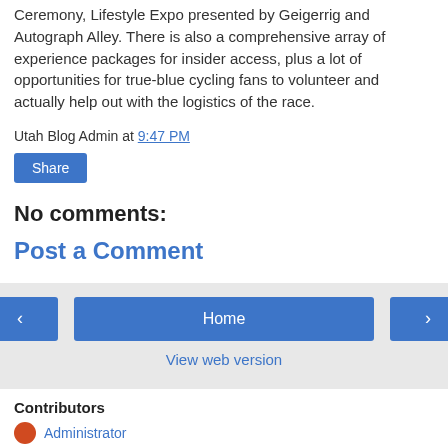Ceremony, Lifestyle Expo presented by Geigerrig and Autograph Alley. There is also a comprehensive array of experience packages for insider access, plus a lot of opportunities for true-blue cycling fans to volunteer and actually help out with the logistics of the race.
Utah Blog Admin at 9:47 PM
Share
No comments:
Post a Comment
Home
View web version
Contributors
Administrator